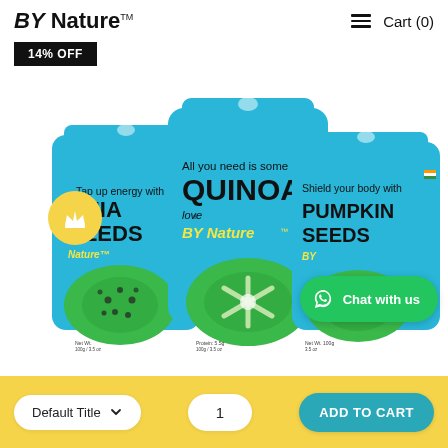BY Nature™   ≡  Cart (0)
14% OFF
[Figure (photo): Three light blue product packages from By Nature brand: Chia Seeds, Quinoa (center, front), and Pumpkin Seeds. Packages feature bold text describing each product. A yellow crown circle badge is visible on the left. A green WhatsApp Chat with us bubble appears bottom right.]
Default Title
1
ADD TO CART